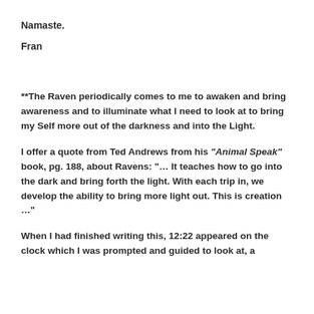Namaste.
Fran
**The Raven periodically comes to me to awaken and bring awareness and to illuminate what I need to look at to bring my Self more out of the darkness and into the Light.
I offer a quote from Ted Andrews from his “Animal Speak” book, pg. 188, about Ravens: “... It teaches how to go into the dark and bring forth the light. With each trip in, we develop the ability to bring more light out. This is creation ...”
When I had finished writing this, 12:22 appeared on the clock which I was prompted and guided to look at, a